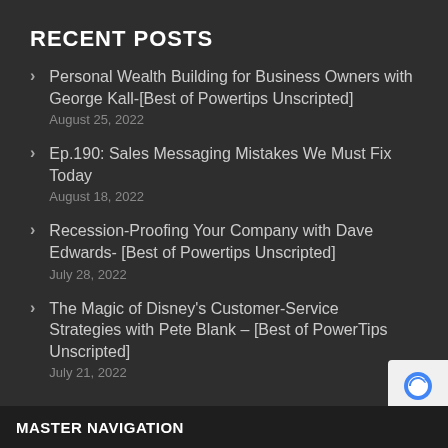RECENT POSTS
Personal Wealth Building for Business Owners with George Kall-[Best of Powertips Unscripted]
August 25, 2022
Ep.190: Sales Messaging Mistakes We Must Fix Today
August 18, 2022
Recession-Proofing Your Company with Dave Edwards- [Best of Powertips Unscripted]
July 28, 2022
The Magic of Disney's Customer-Service Strategies with Pete Blank – [Best of PowerTips Unscripted]
July 21, 2022
MASTER NAVIGATION